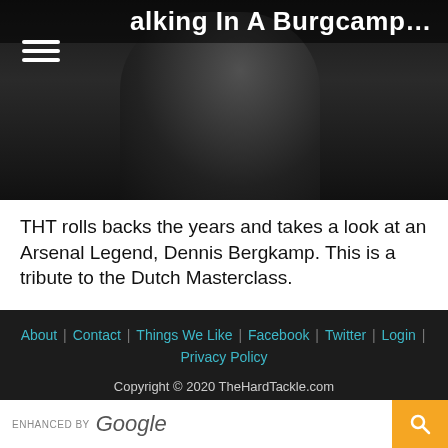[Figure (photo): Dark background photo of a person (Dennis Bergkamp silhouette) with page title 'Walking In A Burgcamp Wonderland' overlaid at top]
THT rolls backs the years and takes a look at an Arsenal Legend, Dennis Bergkamp. This is a tribute to the Dutch Masterclass.
1  2  Next »
About | Contact | Things We Like | Facebook | Twitter | Login | Privacy Policy
ENHANCED BY Google [search bar]
Copyright © 2020 TheHardTackle.com